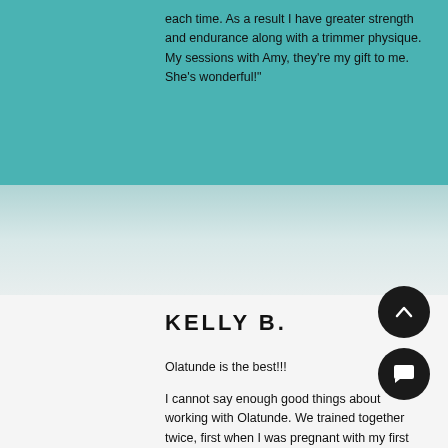each time. As a result I have greater strength and endurance along with a trimmer physique. My sessions with Amy, they're my gift to me. She's wonderful!"
KELLY B.
Olatunde is the best!!!
I cannot say enough good things about working with Olatunde. We trained together twice, first when I was pregnant with my first child in 2020 and again after I gave birth. Not only did he help me to be in great shape for giving birth, and helped me navigating my changing body during pregnancy, he helped me fully recover afterwards. I felt stronger and looked better, and was better able to take care of my rambunctious little boy. Olatunde was also incredibly supportive of my goals, while being good humored, flexible, understanding and patient. He encouraged me to feel at ease in my changing body, and pay attention to my emotional